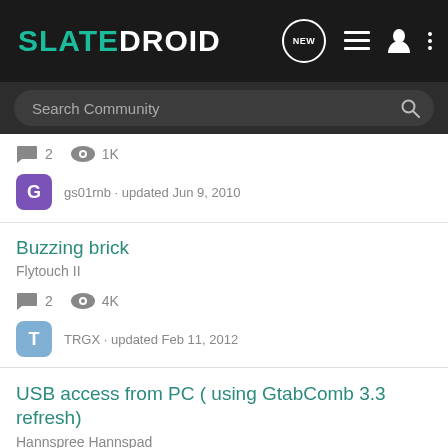SLATEDROID
Search Community
2 replies · 1K views · gs01rnb · updated Jun 9, 2010
Buzzing brick
Flytouch II
2 replies · 4K views · TRGX · updated Feb 11, 2012
USB access from PC ( using GtabComb 3.3 refresh)
Hannspree Hannspad
3 replies · 2K views · bob_a_builder · updated Oct 12, 2011